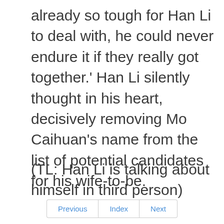already so tough for Han Li to deal with, he could never endure it if they really got together.' Han Li silently thought in his heart, decisively removing Mo Caihuan's name from the list of potential candidates for his wife-to-be.
(TL: Han Li is talking about himself in third person)
Previous   Index   Next